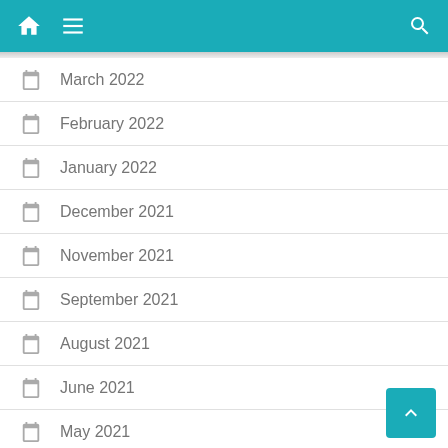Navigation bar with home, menu, and search icons
March 2022
February 2022
January 2022
December 2021
November 2021
September 2021
August 2021
June 2021
May 2021
April 2021
March 2021